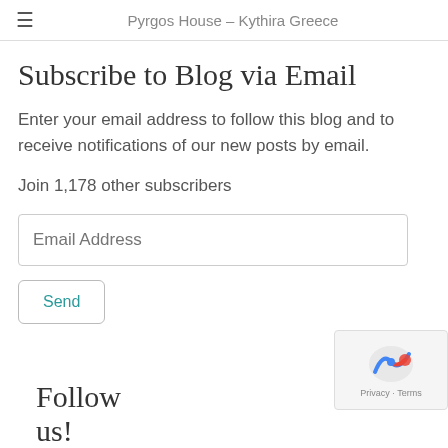Pyrgos House – Kythira Greece
Subscribe to Blog via Email
Enter your email address to follow this blog and to receive notifications of our new posts by email.
Join 1,178 other subscribers
Email Address
Send
Follow us!